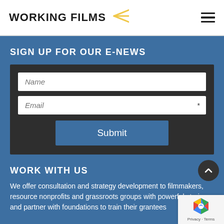WORKING FILMS
SIGN UP FOR OUR E-NEWS
[Figure (screenshot): Email signup form with Name input, Email input with asterisk, and Submit button on dark background]
WORK WITH US
We offer consultation and strategy development to filmmakers, resource nonprofits and grassroots groups with powerful stories, and partner with foundations to train their grantees